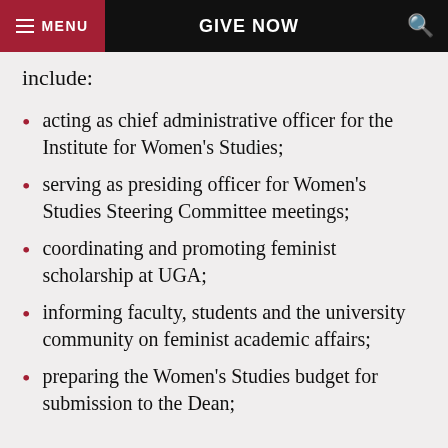MENU | GIVE NOW | Search
include:
acting as chief administrative officer for the Institute for Women's Studies;
serving as presiding officer for Women's Studies Steering Committee meetings;
coordinating and promoting feminist scholarship at UGA;
informing faculty, students and the university community on feminist academic affairs;
preparing the Women's Studies budget for submission to the Dean;